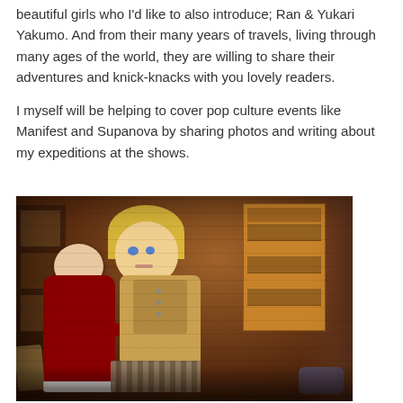beautiful girls who I'd like to also introduce; Ran & Yukari Yakumo. And from their many years of travels, living through many ages of the world, they are willing to share their adventures and knick-knacks with you lovely readers.
I myself will be helping to cover pop culture events like Manifest and Supanova by sharing photos and writing about my expeditions at the shows.
[Figure (photo): A photograph of two anime-style dolls in an indoor setting with warm brown tones. A bookshelf with a wooden cabinet is visible in the background against a brick wall. White flowers are also visible. One doll wears a red outfit and the other has blonde hair and wears a beige/tan outfit.]